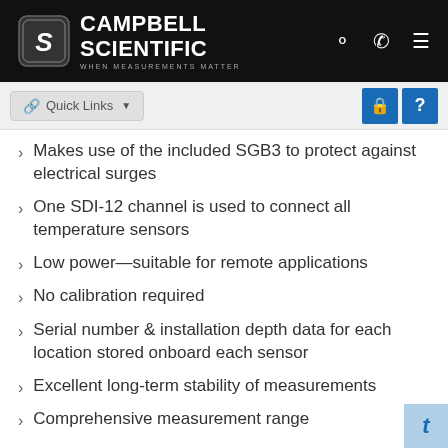Campbell Scientific — WHEN MEASUREMENTS MATTER
Makes use of the included SGB3 to protect against electrical surges
One SDI-12 channel is used to connect all temperature sensors
Low power—suitable for remote applications
No calibration required
Serial number & installation depth data for each location stored onboard each sensor
Excellent long-term stability of measurements
Comprehensive measurement range